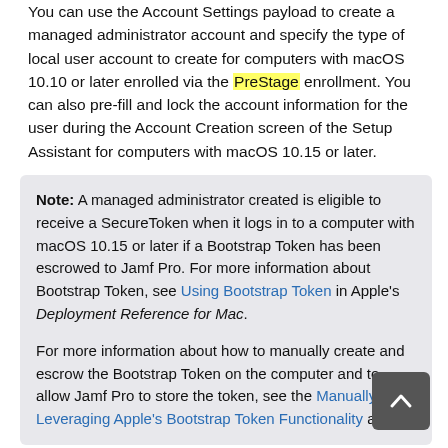You can use the Account Settings payload to create a managed administrator account and specify the type of local user account to create for computers with macOS 10.10 or later enrolled via the PreStage enrollment. You can also pre-fill and lock the account information for the user during the Account Creation screen of the Setup Assistant for computers with macOS 10.15 or later.
Note: A managed administrator created is eligible to receive a SecureToken when it logs in to a computer with macOS 10.15 or later if a Bootstrap Token has been escrowed to Jamf Pro. For more information about Bootstrap Token, see Using Bootstrap Token in Apple's Deployment Reference for Mac.

For more information about how to manually create and escrow the Bootstrap Token on the computer and to allow Jamf Pro to store the token, see the Manually Leveraging Apple's Bootstrap Token Functionality article.